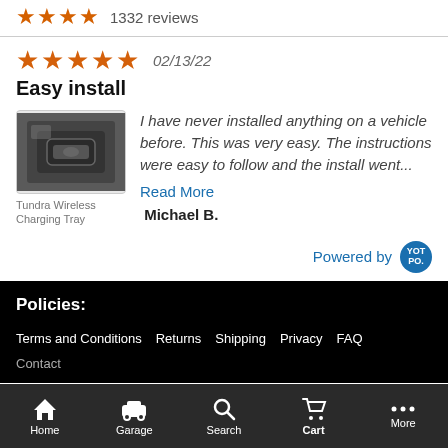★★★★ 1332 reviews
★★★★★ 02/13/22
Easy install
[Figure (photo): Product photo of Tundra Wireless Charging Tray showing dark plastic charging tray console insert]
Tundra Wireless Charging Tray
I have never installed anything on a vehicle before. This was very easy. The instructions were easy to follow and the install went... Read More
Michael B.
Powered by YOTPO
Policies:
Terms and Conditions
Returns
Shipping
Privacy
FAQ
Contact
Home  Garage  Search  Cart  More